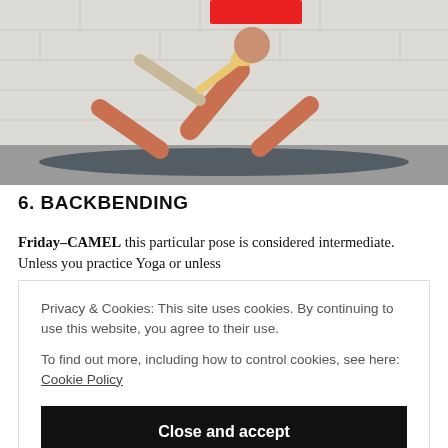[Figure (photo): A person performing a yoga lunge pose in orange pants on a dark gray yoga mat against a white brick wall]
6. BACKBENDING
Friday–CAMEL this particular pose is considered intermediate. Unless you practice Yoga or unless
Privacy & Cookies: This site uses cookies. By continuing to use this website, you agree to their use.
To find out more, including how to control cookies, see here: Cookie Policy
Close and accept
If you try this, please be careful when getting out of